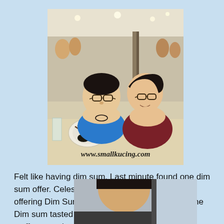[Figure (photo): Two young people, a boy and a girl with glasses, sitting at a restaurant table with dim sum dishes. Restaurant interior visible in background with many tables. Watermark 'www.smallkucing.com' at bottom of photo.]
Felt like having dim sum. Last minute found one dim sum offer. Celestial Dynasty Restaurant in PJ offering Dim Sum Buffet for RM38 per person. The Dim sum tasted so-so la. But the soups and fried stuffs were nice.
[Figure (photo): Person visible from shoulders up, appears to be inside a car. Photo cropped at bottom edge of page.]